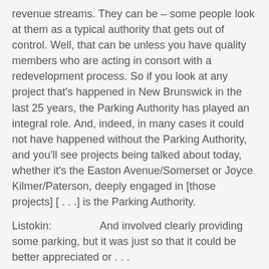revenue streams. They can be – some people look at them as a typical authority that gets out of control. Well, that can be unless you have quality members who are acting in consort with a redevelopment process. So if you look at any project that's happened in New Brunswick in the last 25 years, the Parking Authority has played an integral role. And, indeed, in many cases it could not have happened without the Parking Authority, and you'll see projects being talked about today, whether it's the Easton Avenue/Somerset or Joyce Kilmer/Paterson, deeply engaged in [those projects] [ . . .] is the Parking Authority.
Listokin: And involved clearly providing some parking, but it was just so that it could be better appreciated or . . .
Lynch: Acquisitions that they can make – can be made through the redevelopment law, leveraging parking, which is critical. You can't build projects without parking, and you don't have the money in these projects that are thin to start with to provide parking, so they'll have an